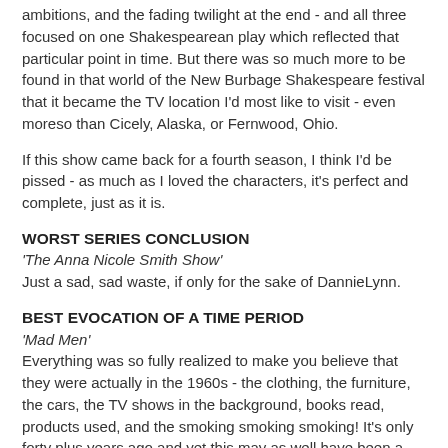ambitions, and the fading twilight at the end - and all three focused on one Shakespearean play which reflected that particular point in time. But there was so much more to be found in that world of the New Burbage Shakespeare festival that it became the TV location I'd most like to visit - even moreso than Cicely, Alaska, or Fernwood, Ohio.
If this show came back for a fourth season, I think I'd be pissed - as much as I loved the characters, it's perfect and complete, just as it is.
WORST SERIES CONCLUSION
'The Anna Nicole Smith Show'
Just a sad, sad waste, if only for the sake of DannieLynn.
BEST EVOCATION OF A TIME PERIOD
'Mad Men'
Everything was so fully realized to make you believe that they were actually in the 1960s - the clothing, the furniture, the cars, the TV shows in the background, books read, products used, and the smoking smoking smoking! It's only forty plus years ago and yet this may as well have been a